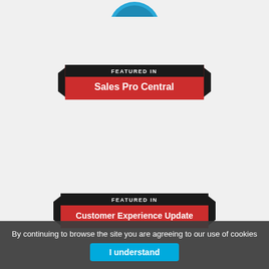[Figure (logo): Partial circular logo/badge at top center, cut off at top edge]
[Figure (infographic): Red ribbon banner badge reading 'FEATURED IN Sales Pro Central' with black pointed ends]
[Figure (infographic): Red ribbon banner badge reading 'FEATURED IN Customer Experience Update' with black pointed ends]
CATEGORIES
Collaboration And Convergence
Customer Experience, Success, Loyalty, Retention
By continuing to browse the site you are agreeing to our use of cookies
I understand